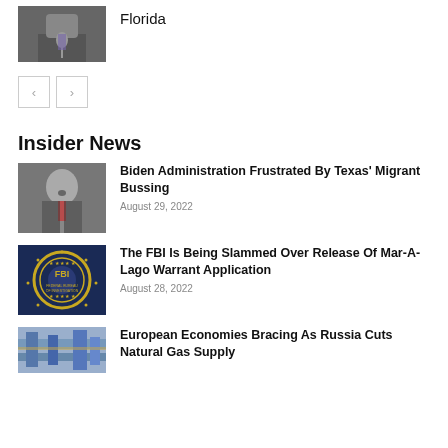[Figure (photo): Man in suit speaking at podium with microphone]
Florida
[Figure (other): Navigation left and right arrow buttons]
Insider News
[Figure (photo): Man speaking outdoors, news article photo]
Biden Administration Frustrated By Texas' Migrant Bussing
August 29, 2022
[Figure (photo): FBI seal logo on dark blue background]
The FBI Is Being Slammed Over Release Of Mar-A-Lago Warrant Application
August 28, 2022
[Figure (photo): Industrial pipes or machinery]
European Economies Bracing As Russia Cuts Natural Gas Supply